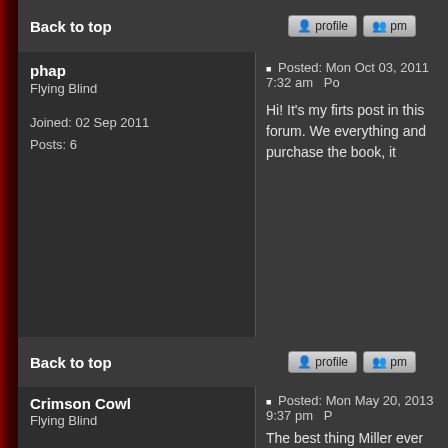Back to top
phap
Flying Blind
Joined: 02 Sep 2011
Posts: 6
Posted: Mon Oct 03, 2011 7:32 am   Po
Hi! It's my firts post in this forum. We everything and purchase the book, it
Back to top
Crimson Cowl
Flying Blind
Joined: 27 Sep 2012
Posts: 9
Posted: Mon May 20, 2013 9:37 pm   P
The best thing Miller ever did. Absol
Unlike may here I don't think the Nuk (maybe more so). The captain Amer minded idealism seems like a lunatic
Full marks, no question.
Do you think your petty concerns ma
Back to top